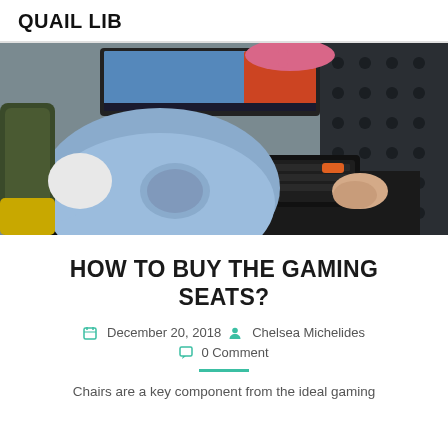QUAIL LIB
[Figure (photo): Person in a light blue hoodie sitting at a gaming desk with a keyboard, monitor, and gaming peripherals visible. Pink headphones are visible at the top. The person's back is mostly to the camera.]
HOW TO BUY THE GAMING SEATS?
December 20, 2018  Chelsea Michelides  0 Comment
Chairs are a key component from the ideal gaming